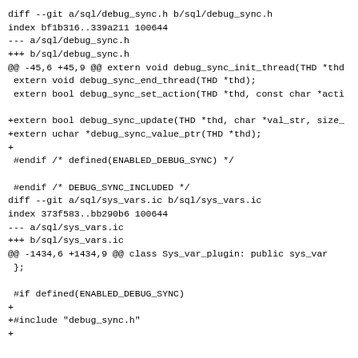diff --git a/sql/debug_sync.h b/sql/debug_sync.h
index bf1b316..339a211 100644
--- a/sql/debug_sync.h
+++ b/sql/debug_sync.h
@@ -45,6 +45,9 @@ extern void debug_sync_init_thread(THD *thd
 extern void debug_sync_end_thread(THD *thd);
 extern bool debug_sync_set_action(THD *thd, const char *acti

+extern bool debug_sync_update(THD *thd, char *val_str, size_
+extern uchar *debug_sync_value_ptr(THD *thd);
+
 #endif /* defined(ENABLED_DEBUG_SYNC) */

 #endif /* DEBUG_SYNC_INCLUDED */
diff --git a/sql/sys_vars.ic b/sql/sys_vars.ic
index 373f583..bb290b6 100644
--- a/sql/sys_vars.ic
+++ b/sql/sys_vars.ic
@@ -1434,6 +1434,9 @@ class Sys_var_plugin: public sys_var
 };

 #if defined(ENABLED_DEBUG_SYNC)
+
+#include "debug_sync.h"
+